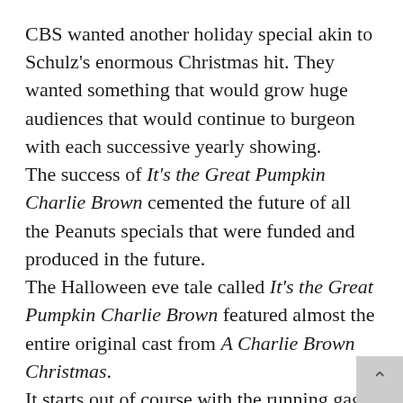CBS wanted another holiday special akin to Schulz's enormous Christmas hit. They wanted something that would grow huge audiences that would continue to burgeon with each successive yearly showing. The success of It's the Great Pumpkin Charlie Brown cemented the future of all the Peanuts specials that were funded and produced in the future. The Halloween eve tale called It's the Great Pumpkin Charlie Brown featured almost the entire original cast from A Charlie Brown Christmas. It starts out of course with the running gag that the sardonic Lucy continually plays on